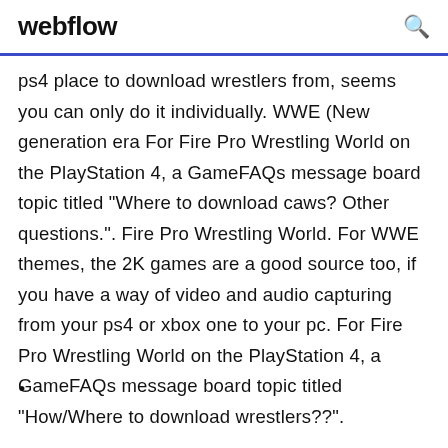webflow
ps4 place to download wrestlers from, seems you can only do it individually. WWE (New generation era For Fire Pro Wrestling World on the PlayStation 4, a GameFAQs message board topic titled "Where to download caws? Other questions.". Fire Pro Wrestling World. For WWE themes, the 2K games are a good source too, if you have a way of video and audio capturing from your ps4 or xbox one to your pc. For Fire Pro Wrestling World on the PlayStation 4, a GameFAQs message board topic titled "How/Where to download wrestlers??".
•
•